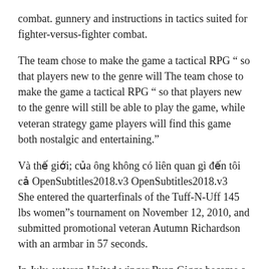combat. gunnery and instructions in tactics suited for fighter-versus-fighter combat.
The team chose to make the game a tactical RPG “ so that players new to the genre will The team chose to make the game a tactical RPG “ so that players new to the genre will still be able to play the game, while veteran strategy game players will find this game both nostalgic and entertaining.”
Và thế giới của ông không có liên quan gì đến tôi cả OpenSubtitles2018.v3 OpenSubtitles2018.v3
She entered the quarterfinals of the Tuff-N-Uff 145 lbs women”s tournament on November 12, 2010, and submitted promotional veteran Autumn Richardson with an armbar in 57 seconds.
In July, veteran United winger Ryan Giggs became a player-coach, while former United and Everton player Phil Neville